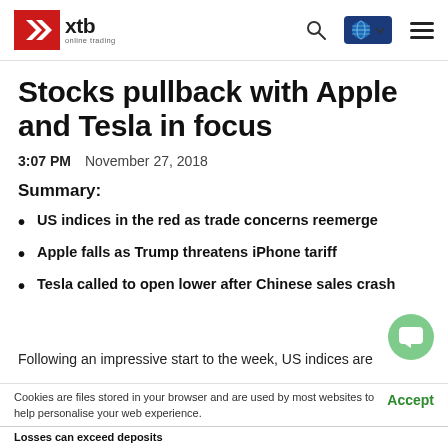xtb online trading
Stocks pullback with Apple and Tesla in focus
3:07 PM  November 27, 2018
Summary:
US indices in the red as trade concerns reemerge
Apple falls as Trump threatens iPhone tariff
Tesla called to open lower after Chinese sales crash
Following an impressive start to the week, US indices are
Cookies are files stored in your browser and are used by most websites to help personalise your web experience.
Losses can exceed deposits